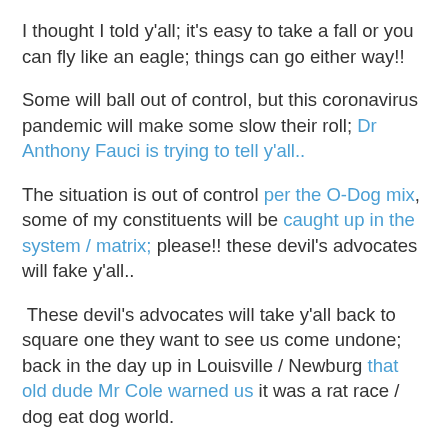I thought I told y'all; it's easy to take a fall or you can fly like an eagle; things can go either way!!
Some will ball out of control, but this coronavirus pandemic will make some slow their roll; Dr Anthony Fauci is trying to tell y'all..
The situation is out of control per the O-Dog mix, some of my constituents will be caught up in the system / matrix; please!! these devil's advocates will fake y'all..
These devil's advocates will take y'all back to square one they want to see us come undone; back in the day up in Louisville / Newburg that old dude Mr Cole warned us it was a rat race / dog eat dog world.
These devil's advocates are rebuked, this soul jazz /